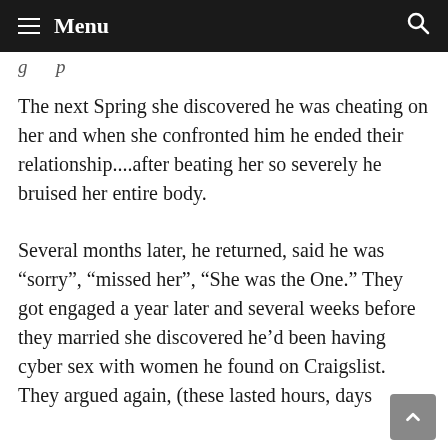≡ Menu
The next Spring she discovered he was cheating on her and when she confronted him he ended their relationship....after beating her so severely he bruised her entire body.
Several months later, he returned, said he was “sorry”, “missed her”, “She was the One.” They got engaged a year later and several weeks before they married she discovered he’d been having cyber sex with women he found on Craigslist. They argued again, (these lasted hours, days